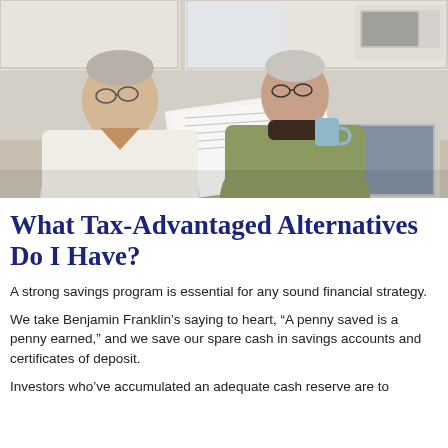[Figure (photo): An elderly couple sitting at a kitchen table, reviewing financial documents together. The man wears a cream cable-knit sweater and plaid shirt; the woman wears a green jacket and holds a blue mug. A laptop is open on the table. The setting is a bright kitchen.]
What Tax-Advantaged Alternatives Do I Have?
A strong savings program is essential for any sound financial strategy.
We take Benjamin Franklin's saying to heart, “A penny saved is a penny earned,” and we save our spare cash in savings accounts and certificates of deposit.
Investors who’ve accumulated an adequate cash reserve are to